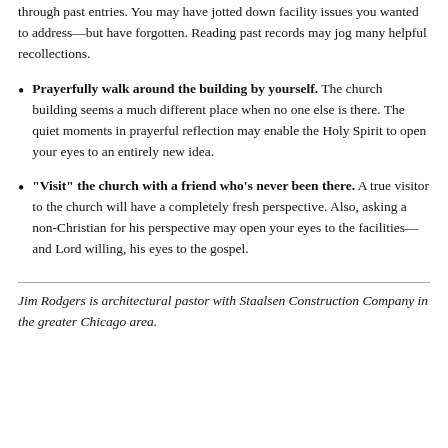through past entries. You may have jotted down facility issues you wanted to address—but have forgotten. Reading past records may jog many helpful recollections.
Prayerfully walk around the building by yourself. The church building seems a much different place when no one else is there. The quiet moments in prayerful reflection may enable the Holy Spirit to open your eyes to an entirely new idea.
"Visit" the church with a friend who's never been there. A true visitor to the church will have a completely fresh perspective. Also, asking a non-Christian for his perspective may open your eyes to the facilities—and Lord willing, his eyes to the gospel.
Jim Rodgers is architectural pastor with Staalsen Construction Company in the greater Chicago area.